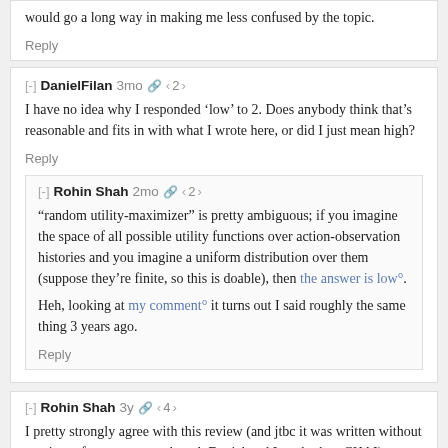That being said, I think that a better definition of goal-directedness would go a long way in making me less confused by the topic.
Reply
[-] DanielFilan 3mo 🔗 < 2 >
I have no idea why I responded 'low' to 2. Does anybody think that's reasonable and fits in with what I wrote here, or did I just mean high?
Reply
[-] Rohin Shah 2mo 🔗 < 2 >
"random utility-maximizer" is pretty ambiguous; if you imagine the space of all possible utility functions over action-observation histories and you imagine a uniform distribution over them (suppose they're finite, so this is doable), then the answer is low°.
Heh, looking at my comment° it turns out I said roughly the same thing 3 years ago.
Reply
[-] Rohin Shah 3y 🔗 < 4 >
I pretty strongly agree with this review (and jtbc it was written without any input from me, even though Daniel and I are both at CHAI).